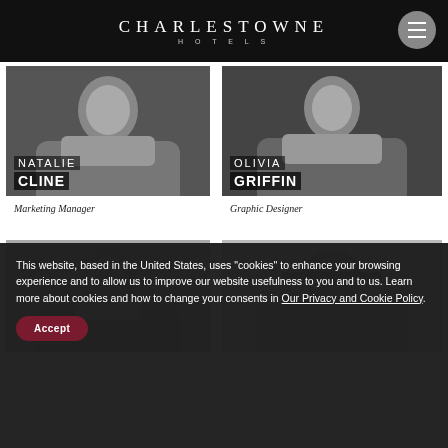CHARLESTOWNE HOTELS
[Figure (photo): Black and white portrait photo of Natalie Cline with name overlay]
Marketing Manager
[Figure (photo): Black and white portrait photo of Olivia Griffin with name overlay]
Graphic Designer
[Figure (photo): Black and white portrait photo of a woman with dark hair]
[Figure (photo): Black and white portrait photo of a bald man with glasses]
This website, based in the United States, uses "cookies" to enhance your browsing experience and to allow us to improve our website usefulness to you and to us. Learn more about cookies and how to change your consents in Our Privacy and Cookie Policy.
Accept